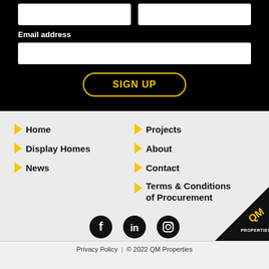Email address
SIGN UP
Home
Display Homes
News
Projects
About
Contact
Terms & Conditions of Procurement
[Figure (logo): QM Properties logo in black and yellow triangle corner]
Privacy Policy | © 2022 QM Properties